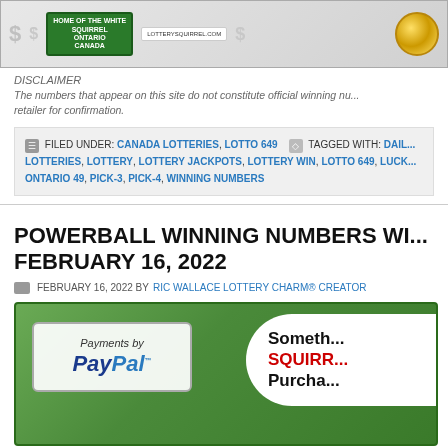[Figure (photo): Top banner image showing lottery-related imagery including Exeter sign, LotterySquirrel.com logo, dollar signs, and a gold coin]
DISCLAIMER
The numbers that appear on this site do not constitute official winning numbers. Always check with your retailer for confirmation.
FILED UNDER: CANADA LOTTERIES, LOTTO 649   TAGGED WITH: DAILY LOTTERIES, LOTTERY, LOTTERY JACKPOTS, LOTTERY WIN, LOTTO 649, LUCKY, ONTARIO 49, PICK-3, PICK-4, WINNING NUMBERS
POWERBALL WINNING NUMBERS WE... FEBRUARY 16, 2022
FEBRUARY 16, 2022 BY RIC WALLACE LOTTERY CHARM® CREATOR
[Figure (photo): Advertisement image showing PayPal payments logo on white box over green background, and a white rounded shape with text 'Someth... SQUIRR... Purcha...']